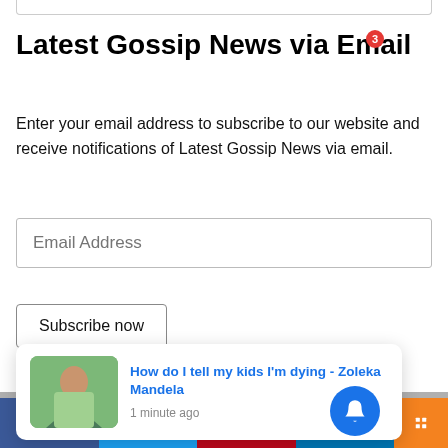Latest Gossip News via Email
Enter your email address to subscribe to our website and receive notifications of Latest Gossip News via email.
Email Address
Subscribe now
PROMOTED CONTENT
[Figure (screenshot): Notification popup showing article: 'How do I tell my kids I'm dying - Zoleka Mandela' with thumbnail image and '1 minute ago' timestamp]
[Figure (screenshot): Partial image strip at bottom with X close button, and partial text 'xperience. We'll out if you wish']
[Figure (infographic): Social share bar with Facebook, Twitter, Pinterest, LinkedIn, and Mix buttons, plus share icon and bell notification button with badge showing 3]